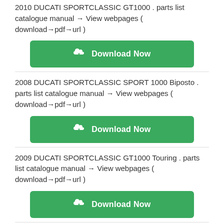2010 DUCATI SPORTCLASSIC GT1000 . parts list catalogue manual → View webpages ( download→pdf→url )
[Figure (other): Green Download Now button with cloud/download icon]
2008 DUCATI SPORTCLASSIC SPORT 1000 Biposto . parts list catalogue manual → View webpages ( download→pdf→url )
[Figure (other): Green Download Now button with cloud/download icon]
2009 DUCATI SPORTCLASSIC GT1000 Touring . parts list catalogue manual → View webpages ( download→pdf→url )
[Figure (other): Green Download Now button with cloud/download icon]
2007 DUCATI SPORTCLASSIC SPORT 1000S . parts list catalogue manual → View webpages ( download→pdf→url )